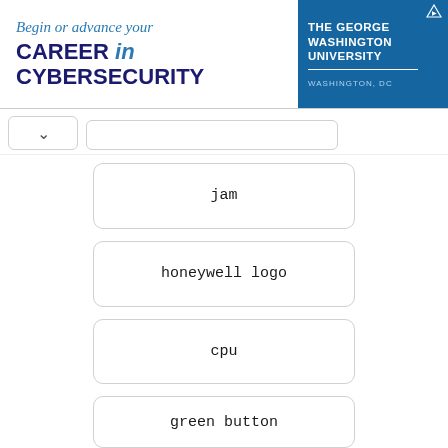[Figure (screenshot): Advertisement banner for The George Washington University cybersecurity program. Text reads 'Begin or advance your CAREER in CYBERSECURITY' with the GWU logo and 'WASHINGTON, DC' on the right.]
jam
honeywell logo
cpu
green button